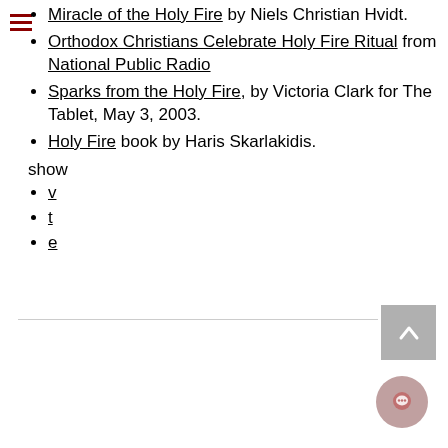Miracle of the Holy Fire by Niels Christian Hvidt.
Orthodox Christians Celebrate Holy Fire Ritual from National Public Radio
Sparks from the Holy Fire, by Victoria Clark for The Tablet, May 3, 2003.
Holy Fire book by Haris Skarlakidis.
show
v
t
e